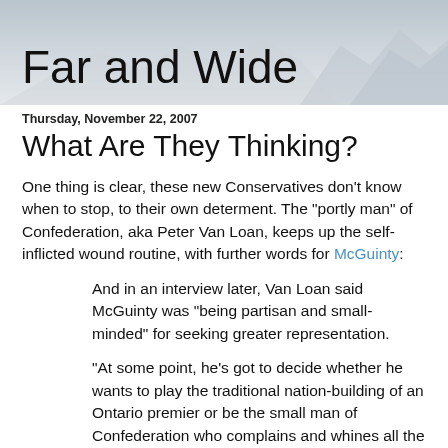[Figure (photo): Mountain landscape banner header image in grayscale/light grey tones]
Far and Wide
Thursday, November 22, 2007
What Are They Thinking?
One thing is clear, these new Conservatives don't know when to stop, to their own determent. The "portly man" of Confederation, aka Peter Van Loan, keeps up the self-inflicted wound routine, with further words for McGuinty:
And in an interview later, Van Loan said McGuinty was "being partisan and small-minded" for seeking greater representation.
"At some point, he's got to decide whether he wants to play the traditional nation-building of an Ontario premier or be the small man of Confederation who complains and whines all the time," Van Loan said.